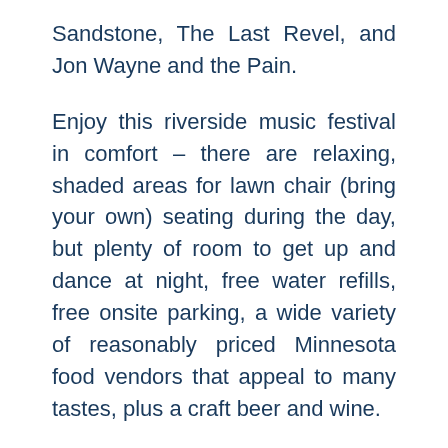Sandstone, The Last Revel, and Jon Wayne and the Pain.
Enjoy this riverside music festival in comfort – there are relaxing, shaded areas for lawn chair (bring your own) seating during the day, but plenty of room to get up and dance at night, free water refills, free onsite parking, a wide variety of reasonably priced Minnesota food vendors that appeal to many tastes, plus a craft beer and wine.
Bring the entire family and have fun with activities like games of Giant Jenga, Putt Putt, and Bean Bags, and more. Visit the children's area and explore the activity board, games,